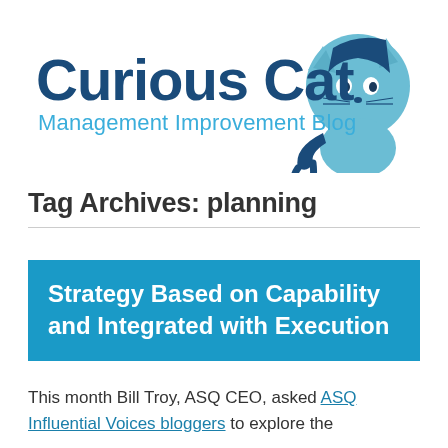[Figure (logo): Curious Cat Management Improvement Blog logo with blue cat illustration]
Tag Archives: planning
Strategy Based on Capability and Integrated with Execution
This month Bill Troy, ASQ CEO, asked ASQ Influential Voices bloggers to explore the